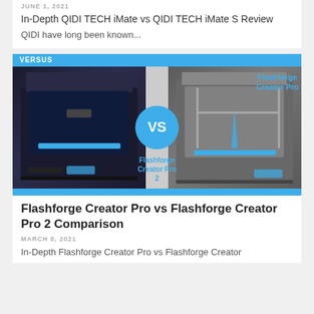JUNE 1, 2021
In-Depth QIDI TECH iMate vs QIDI TECH iMate S Review QIDI have long been known...
[Figure (illustration): Versus comparison image showing two 3D printers (Flashforge Creator Pro on the left and Flashforge Creator Pro 2 on the right) with a blue VS circle in the center, a VERSUS badge in the top-left corner, and blue horizontal bars at top and bottom.]
Flashforge Creator Pro vs Flashforge Creator Pro 2 Comparison
MARCH 8, 2021
In-Depth Flashforge Creator Pro vs Flashforge Creator